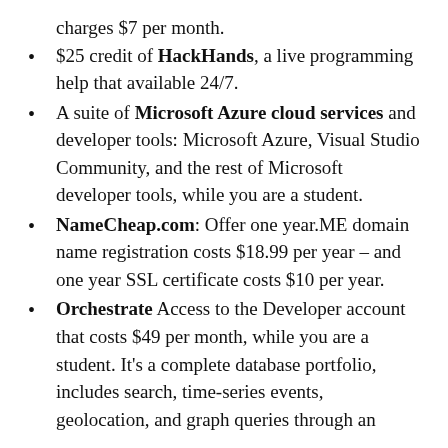charges $7 per month.
$25 credit of HackHands, a live programming help that available 24/7.
A suite of Microsoft Azure cloud services and developer tools: Microsoft Azure, Visual Studio Community, and the rest of Microsoft developer tools, while you are a student.
NameCheap.com: Offer one year.ME domain name registration costs $18.99 per year – and one year SSL certificate costs $10 per year.
Orchestrate Access to the Developer account that costs $49 per month, while you are a student. It's a complete database portfolio, includes search, time-series events, geolocation, and graph queries through an